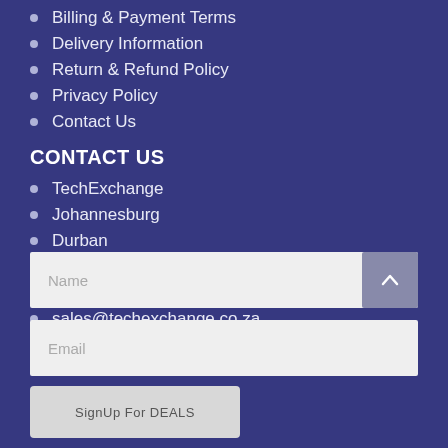Billing & Payment Terms
Delivery Information
Return & Refund Policy
Privacy Policy
Contact Us
CONTACT US
TechExchange
Johannesburg
Durban
Cape Town
+27 (0) 72 439 2243
sales@techexchange.co.za
Name
Email
SignUp For DEALS